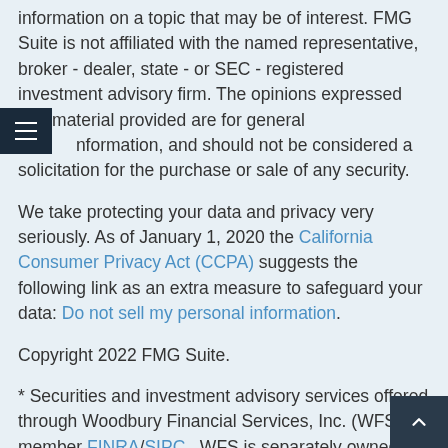information on a topic that may be of interest. FMG Suite is not affiliated with the named representative, broker - dealer, state - or SEC - registered investment advisory firm. The opinions expressed and material provided are for general information, and should not be considered a solicitation for the purchase or sale of any security.
We take protecting your data and privacy very seriously. As of January 1, 2020 the California Consumer Privacy Act (CCPA) suggests the following link as an extra measure to safeguard your data: Do not sell my personal information.
Copyright 2022 FMG Suite.
* Securities and investment advisory services offered through Woodbury Financial Services, Inc. (WFS), member FINRA/SIPC.  WFS is separately owned and other entities and/or marketing names, products or services referenced here are independent of WFS.  WFS does not